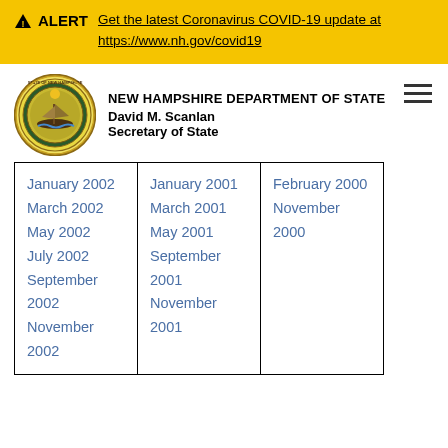ALERT — Get the latest Coronavirus COVID-19 update at https://www.nh.gov/covid19
[Figure (logo): New Hampshire state seal circular emblem]
NEW HAMPSHIRE DEPARTMENT OF STATE
David M. Scanlan
Secretary of State
| January 2002
March 2002
May 2002
July 2002
September 2002
November 2002 | January 2001
March 2001
May 2001
September 2001
November 2001 | February 2000
November 2000 |